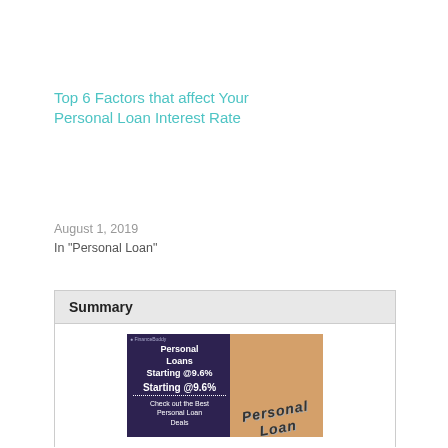Top 6 Factors that affect Your Personal Loan Interest Rate
August 1, 2019
In "Personal Loan"
Summary
[Figure (illustration): Advertisement banner for Personal Loans Starting @9.6% with text 'Check out the Best Personal Loan Deals' on left dark purple panel, and 'Personal Loan' text over a calculator/notepad image on right]